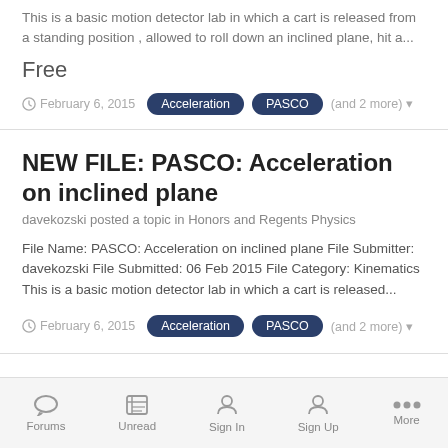This is a basic motion detector lab in which a cart is released from a standing position , allowed to roll down an inclined plane, hit a...
Free
February 6, 2015
Acceleration
PASCO
(and 2 more)
NEW FILE: PASCO: Acceleration on inclined plane
davekozski posted a topic in Honors and Regents Physics
File Name: PASCO: Acceleration on inclined plane File Submitter: davekozski File Submitted: 06 Feb 2015 File Category: Kinematics This is a basic motion detector lab in which a cart is released...
February 6, 2015
Acceleration
PASCO
(and 2 more)
Forums   Unread   Sign In   Sign Up   More